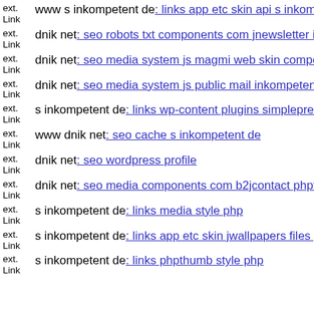ext. Link www s inkompetent de: links app etc skin api s inkompetent de
ext. Link dnik net: seo robots txt components com jnewsletter includes o
ext. Link dnik net: seo media system js magmi web skin components com
ext. Link dnik net: seo media system js public mail inkompetent de
ext. Link s inkompetent de: links wp-content plugins simplepress up php
ext. Link www dnik net: seo cache s inkompetent de
ext. Link dnik net: seo wordpress profile
ext. Link dnik net: seo media components com b2jcontact phpthumb ven
ext. Link s inkompetent de: links media style php
ext. Link s inkompetent de: links app etc skin jwallpapers files plupload
ext. Link s inkompetent de: links phpthumb style php